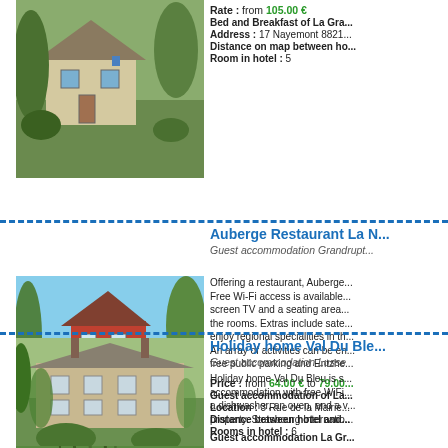[Figure (photo): Exterior photo of a house with garden and trees]
Rate : from 105.00 € Bed and Breakfast of La Gra... Address : 17 Nayemont 8821... Distance on map between ho... Room in hotel : 5
Auberge Restaurant La N...
Guest accommodation Grandrupt...
[Figure (photo): Exterior photo of a red building near a pond with reeds and grass]
Offering a restaurant, Auberge... Free Wi-Fi access is available... screen TV and a seating area... the rooms. Extras include sate... enjoy regional specialities in th... An array of activities can be en... free public parking and Entzhe...
Price : from 64.00 € to 79.00... Guest accommodation of La... Location : 3 Rue de la Mairie... Distance between hotel and... Rooms in hotel : 6
Holiday home Val Du Ble...
Guest accommodation Lusse
[Figure (photo): Exterior photo of a large country house with gardens]
Holiday home Val Du Bleu is s... accommodation with free WiFi... a dishwasher, an oven, and a v... property. Strasbourg Internatio...
Guest accommodation La Gr...